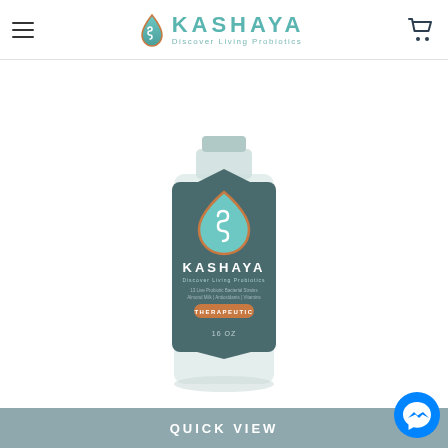Kashaya — Discover Living Probiotics
[Figure (photo): Kashaya probiotic drink bottle with teal/grey label featuring a teardrop logo with intestine icon, 'KASHAYA Discover Living Probiotics' branding, 'THERAPEUTIC' badge, 16 oz, shown against white background]
QUICK VIEW